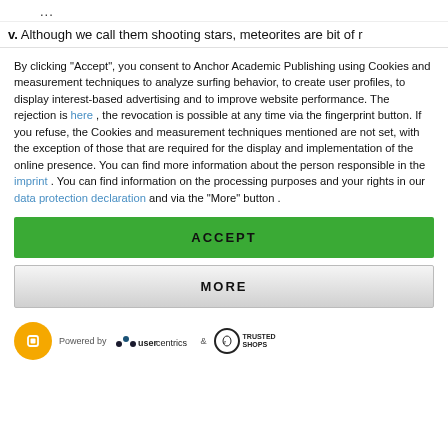...
v. Although we call them shooting stars, meteorites are bit of r
By clicking "Accept", you consent to Anchor Academic Publishing using Cookies and measurement techniques to analyze surfing behavior, to create user profiles, to display interest-based advertising and to improve website performance. The rejection is here , the revocation is possible at any time via the fingerprint button. If you refuse, the Cookies and measurement techniques mentioned are not set, with the exception of those that are required for the display and implementation of the online presence. You can find more information about the person responsible in the imprint . You can find information on the processing purposes and your rights in our data protection declaration and via the "More" button .
ACCEPT
MORE
[Figure (logo): Footer with Usercentrics and Trusted Shops logos. Orange circle icon with fingerprint, 'Powered by' text, usercentrics logo with dots, ampersand, Trusted Shops circular logo with e symbol.]